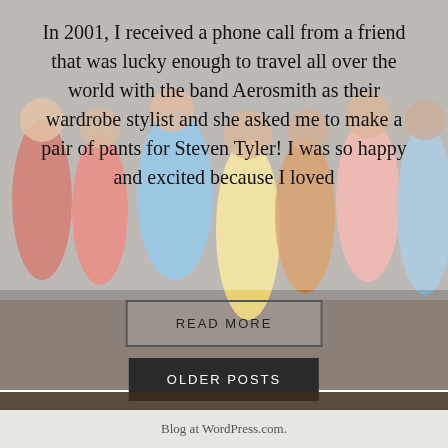[Figure (photo): Group of women in colorful dresses posing together, used as background image behind the blog text]
In 2001, I received a phone call from a friend that was lucky enough to travel all over the world with the band Aerosmith as their wardrobe stylist and she asked me to make a pair of pants for Steven Tyler! I was so happy and excited because I loved
READ MORE
OLDER POSTS
Blog at WordPress.com.